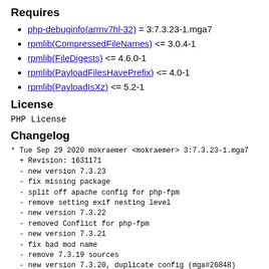Requires
php-debuginfo(armv7hl-32) = 3:7.3.23-1.mga7
rpmlib(CompressedFileNames) <= 3.0.4-1
rpmlib(FileDigests) <= 4.6.0-1
rpmlib(PayloadFilesHavePrefix) <= 4.0-1
rpmlib(PayloadIsXz) <= 5.2-1
License
PHP License
Changelog
* Tue Sep 29 2020 mokraemer <mokraemer> 3:7.3.23-1.mga7
  + Revision: 1631171
  - new version 7.3.23
  - fix missing package
  - split off apache config for php-fpm
  - remove setting exif nesting level
  - new version 7.3.22
  - removed Conflict for php-fpm
  - new version 7.3.21
  - fix bad mod name
  - remove 7.3.19 sources
  - new version 7.3.20, duplicate config (mga#26848)
  - mga#26922